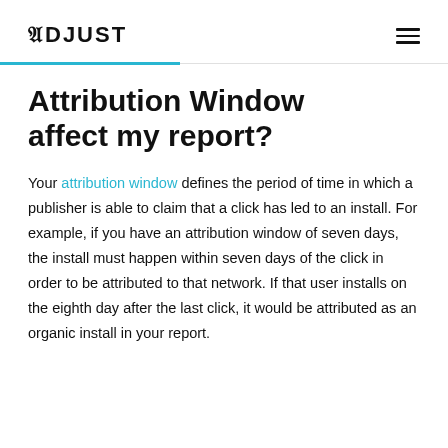ADJUST
Attribution Window affect my report?
Your attribution window defines the period of time in which a publisher is able to claim that a click has led to an install. For example, if you have an attribution window of seven days, the install must happen within seven days of the click in order to be attributed to that network. If that user installs on the eighth day after the last click, it would be attributed as an organic install in your report.